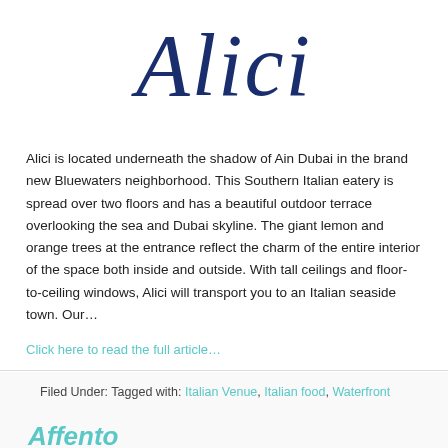[Figure (logo): Alici restaurant logo in cursive dark blue script]
Alici is located underneath the shadow of Ain Dubai in the brand new Bluewaters neighborhood. This Southern Italian eatery is spread over two floors and has a beautiful outdoor terrace overlooking the sea and Dubai skyline. The giant lemon and orange trees at the entrance reflect the charm of the entire interior of the space both inside and outside. With tall ceilings and floor-to-ceiling windows, Alici will transport you to an Italian seaside town. Our…
Click here to read the full article…
Filed Under: Tagged with: Italian Venue, Italian food, Waterfront venue, Wedding Venue